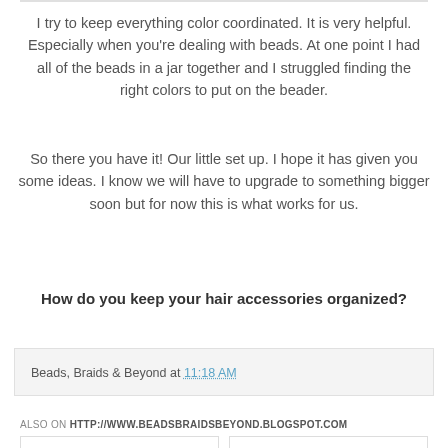I try to keep everything color coordinated. It is very helpful. Especially when you're dealing with beads. At one point I had all of the beads in a jar together and I struggled finding the right colors to put on the beader.
So there you have it! Our little set up. I hope it has given you some ideas. I know we will have to upgrade to something bigger soon but for now this is what works for us.
How do you keep your hair accessories organized?
Beads, Braids & Beyond at 11:18 AM
ALSO ON HTTP://WWW.BEADSBRAIDSBEYOND.BLOGSPOT.COM